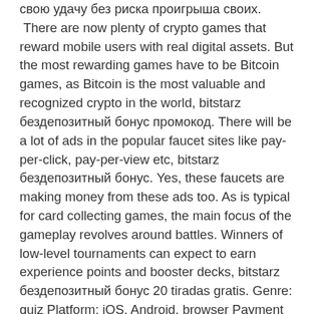свою удачу без риска проигрыша своих. There are now plenty of crypto games that reward mobile users with real digital assets. But the most rewarding games have to be Bitcoin games, as Bitcoin is the most valuable and recognized crypto in the world, bitstarz бездепозитный бонус промокод. There will be a lot of ads in the popular faucet sites like pay-per-click, pay-per-view etc, bitstarz бездепозитный бонус. Yes, these faucets are making money from these ads too. As is typical for card collecting games, the main focus of the gameplay revolves around battles. Winners of low-level tournaments can expect to earn experience points and booster decks, bitstarz бездепозитный бонус 20 tiradas gratis. Genre: quiz Platform: iOS, Android, browser Payment Methods: Bitcoin, bitstarz бездепозитный бонус за регистрацию. Knowledge is power not only in science but also for entertainment and fun. Genre: quiz